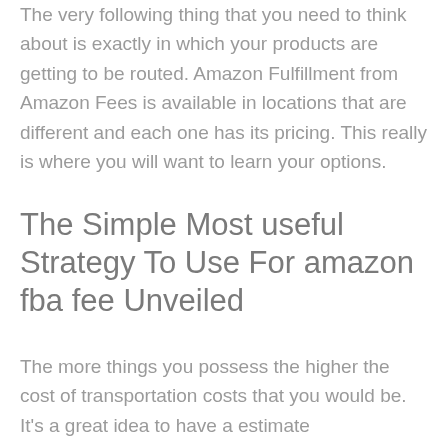The very following thing that you need to think about is exactly in which your products are getting to be routed. Amazon Fulfillment from Amazon Fees is available in locations that are different and each one has its pricing. This really is where you will want to learn your options.
The Simple Most useful Strategy To Use For amazon fba fee Unveiled
The more things you possess the higher the cost of transportation costs that you would be. It's a great idea to have a estimate